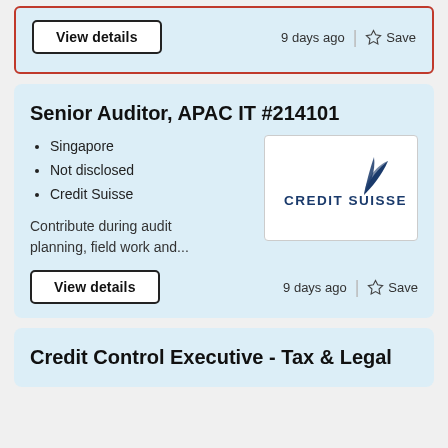View details | 9 days ago | Save
Senior Auditor, APAC IT #214101
Singapore
Not disclosed
Credit Suisse
Contribute during audit planning, field work and...
[Figure (logo): Credit Suisse logo with navy blue text and stylized sail/wing mark]
View details | 9 days ago | Save
Credit Control Executive - Tax & Legal